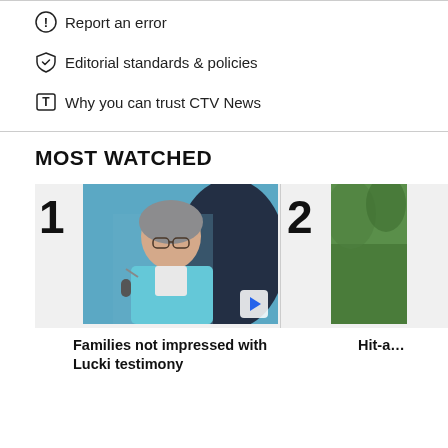Report an error
Editorial standards & policies
Why you can trust CTV News
MOST WATCHED
[Figure (photo): Woman speaking at microphone, wearing glasses and a blue outfit]
1
2
Families not impressed with Lucki testimony
Hit-a…